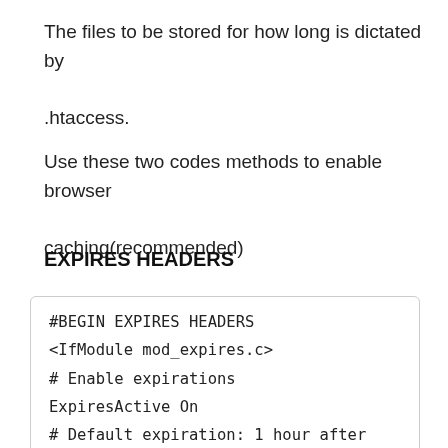The files to be stored for how long is dictated by .htaccess.
Use these two codes methods to enable browser caching(recommended)
EXPIRES HEADERS
#BEGIN EXPIRES HEADERS
<IfModule mod_expires.c>
# Enable expirations
ExpiresActive On
# Default expiration: 1 hour after